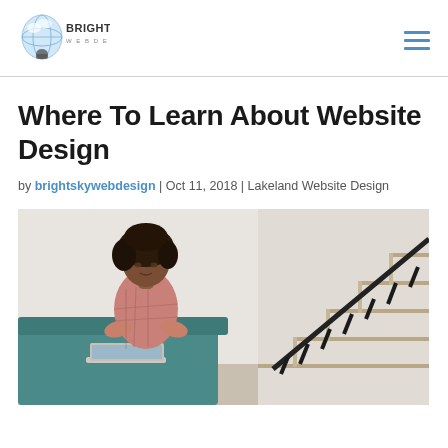[Figure (logo): BrightSky Web Design logo with lightbulb globe icon]
Where To Learn About Website Design
by brightskywebdesign | Oct 11, 2018 | Lakeland Website Design
[Figure (photo): A woman with natural hair wearing a pink plaid shirt, sitting on a teal couch with a laptop, with a modern staircase in the background]